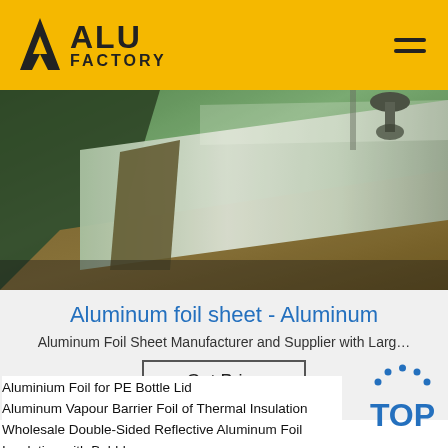[Figure (logo): ALU FACTORY logo with yellow background, black triangular icon and bold text ALU FACTORY]
[Figure (photo): Industrial photo of aluminum foil sheet being processed on a machine, with green tinted lighting]
Aluminum foil sheet - Aluminum
Aluminum Foil Sheet Manufacturer and Supplier with Larg…
Get Price
Aluminium Foil for PE Bottle Lid
Aluminum Vapour Barrier Foil of Thermal Insulation
Wholesale Double-Sided Reflective Aluminum Foil Insulation with Bubble
[Figure (illustration): TOP badge with dotted arc above letters TOP in blue]